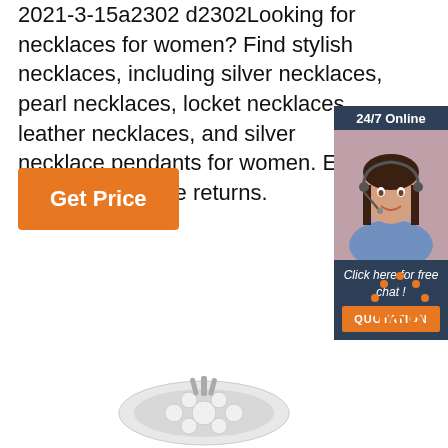2021-3-15a2302 d2302Looking for necklaces for women? Find stylish necklaces, including silver necklaces, pearl necklaces, locket necklaces, leather necklaces, and silver necklace pendants for women. Easy shipping and free returns.
[Figure (infographic): Orange 'Get Price' button]
[Figure (photo): 24/7 Online chat widget with woman wearing headset, 'Click here for free chat!' text, and orange QUOTATION button]
[Figure (illustration): TOP button with orange dots arranged in arc above orange TOP text]
[Figure (photo): Jewelry item (necklace/bracelet) partially visible at bottom of page]